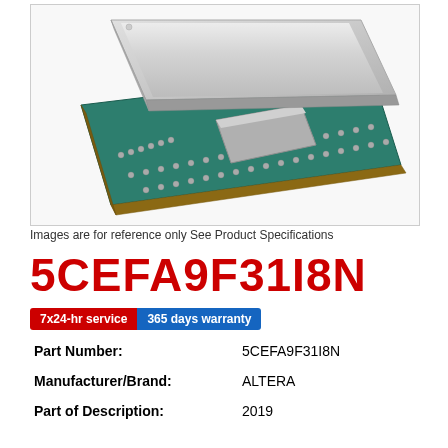[Figure (photo): Photo of an FPGA integrated circuit chip (Altera Cyclone V) showing a teal/green PCB substrate with solder balls and a silver metallic heat spreader lid on top]
Images are for reference only See Product Specifications
5CEFA9F31I8N
7x24-hr service  365 days warranty
| Part Number: | 5CEFA9F31I8N |
| Manufacturer/Brand: | ALTERA |
| Part of Description: | 2019 |